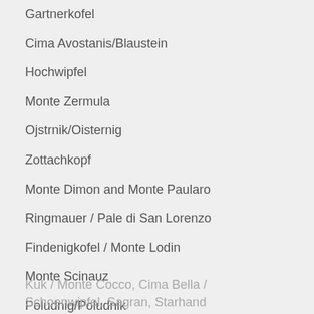Gartnerkofel
Cima Avostanis/Blaustein
Hochwipfel
Monte Zermula
Ojstrnik/Oisternig
Zottachkopf
Monte Dimon and Monte Paularo
Ringmauer / Pale di San Lorenzo
Findenigkofel / Monte Lodin
Monte Scinauz
Poludnig/Poludnik
Garnitzenberg / Monte Carnizza
Kuk / Monte Cocco, Cima Bella / Schoenwipfel, Sagran, Starhand